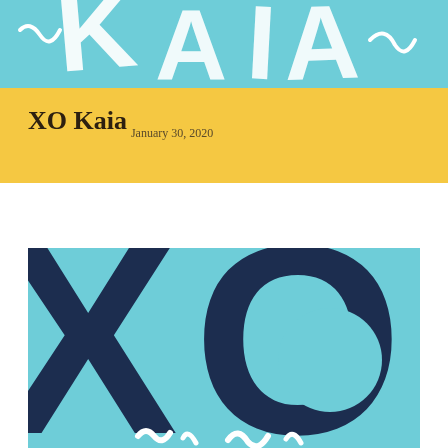[Figure (illustration): Top banner with light blue/teal background showing partial white handwritten-style letters (XO Kaia) cropped at the top]
XO Kaia
January 30, 2020
[Figure (illustration): Large square image with light blue/teal background showing oversized dark navy XO letters with the X on the left side and O on the right, partially cropped. White handwritten letters visible at the bottom.]